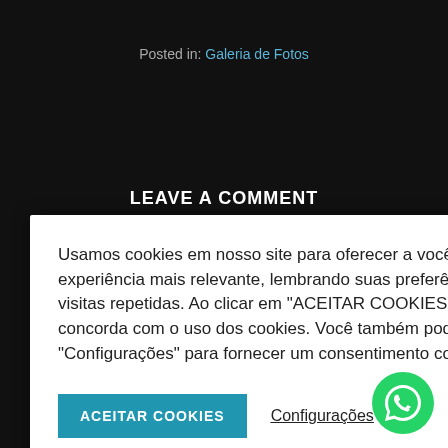Posted in: Galeria de Fotos
LEAVE A COMMENT
Usamos cookies em nosso site para oferecer a você a experiência mais relevante, lembrando suas preferências e visitas repetidas. Ao clicar em "ACEITAR COOKIES", você concorda com o uso dos cookies. Você também pode visitar "Configurações" para fornecer um consentimento controlado.
ACEITAR COOKIES   Configurações